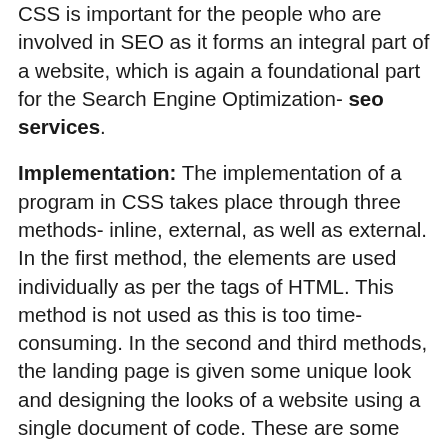CSS is important for the people who are involved in SEO as it forms an integral part of a website, which is again a foundational part for the Search Engine Optimization- seo services.
Implementation: The implementation of a program in CSS takes place through three methods- inline, external, as well as external. In the first method, the elements are used individually as per the tags of HTML. This method is not used as this is too time-consuming. In the second and third methods, the landing page is given some unique look and designing the looks of a website using a single document of code. These are some methods of designing that are described in these passages about the CSS programming language. There may be many more methods in other programing languages as well CSS offers you this feature of setting the color, font, and size of text which is posted on a website. This is